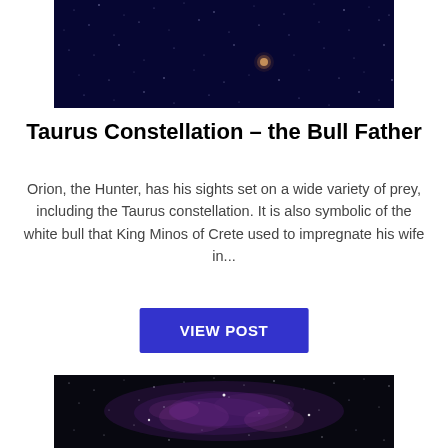[Figure (photo): Night sky photograph showing dense field of stars, dark space background with bright star cluster visible]
Taurus Constellation – the Bull Father
Orion, the Hunter, has his sights set on a wide variety of prey, including the Taurus constellation. It is also symbolic of the white bull that King Minos of Crete used to impregnate his wife in...
VIEW POST
[Figure (photo): Night sky photograph showing Milky Way region with nebulosity, stars, and purple-pink hues against dark background]